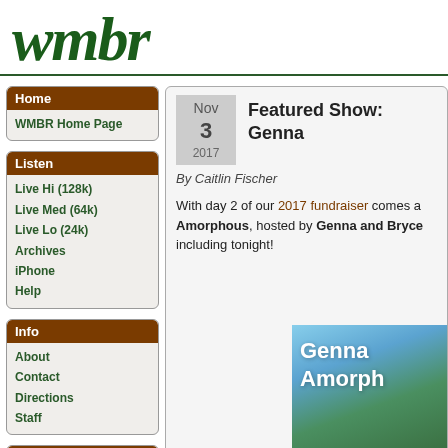[Figure (logo): WMBR radio station logo in dark green serif italic font]
Home
WMBR Home Page
Listen
Live Hi (128k)
Live Med (64k)
Live Lo (24k)
Archives
iPhone
Help
Info
About
Contact
Directions
Staff
Programming
Schedule
Program Guide (pdf)
Featured Show: Genna Amorphous
Nov 3 2017
By Caitlin Fischer
With day 2 of our 2017 fundraiser comes a featured show: Amorphous, hosted by Genna and Bryce including tonight!
[Figure (photo): Photo with text overlay showing 'Genna Amorphous' over a landscape with rolling hills and blue sky]